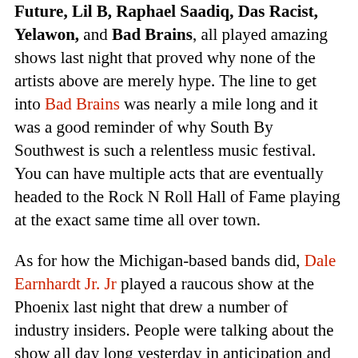Future, Lil B, Raphael Saadiq, Das Racist, Yelawon, and Bad Brains, all played amazing shows last night that proved why none of the artists above are merely hype. The line to get into Bad Brains was nearly a mile long and it was a good reminder of why South By Southwest is such a relentless music festival. You can have multiple acts that are eventually headed to the Rock N Roll Hall of Fame playing at the exact same time all over town.
As for how the Michigan-based bands did, Dale Earnhardt Jr. Jr played a raucous show at the Phoenix last night that drew a number of industry insiders. People were talking about the show all day long yesterday in anticipation and the boys didn't disappoint. Dressed in their usual race car suits and armed with a bass, guitar, and drums, Dale E used a bevy of songs that quickly showed how talented they are. Lot's of folks all over the country have heard about the Detroit-based experimental rock band for awhile and seemed glad to finally have a chance to see them live. The